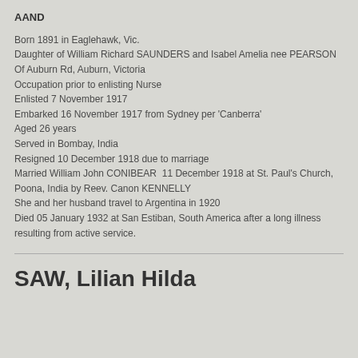AAND
Born 1891 in Eaglehawk, Vic.
Daughter of William Richard SAUNDERS and Isabel Amelia nee PEARSON
Of Auburn Rd, Auburn, Victoria
Occupation prior to enlisting Nurse
Enlisted 7 November 1917
Embarked 16 November 1917 from Sydney per 'Canberra'
Aged 26 years
Served in Bombay, India
Resigned 10 December 1918 due to marriage
Married William John CONIBEAR  11 December 1918 at St. Paul's Church, Poona, India by Reev. Canon KENNELLY
She and her husband travel to Argentina in 1920
Died 05 January 1932 at San Estiban, South America after a long illness resulting from active service.
SAW, Lilian Hilda